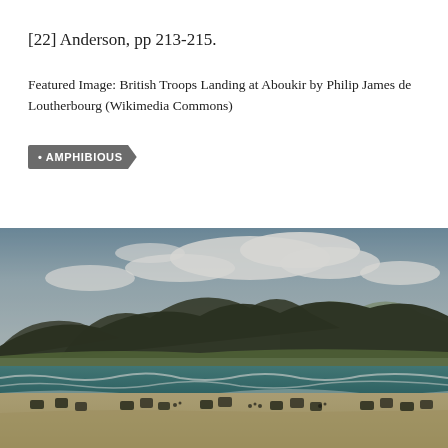[22] Anderson, pp 213-215.
Featured Image: British Troops Landing at Aboukir by Philip James de Loutherbourg (Wikimedia Commons)
AMPHIBIOUS
[Figure (photo): Aerial photograph of an amphibious military landing exercise on a beach, with numerous military vehicles and troops on the sand and in the surf. Green hills and mountains are visible in the background under a partly cloudy sky.]